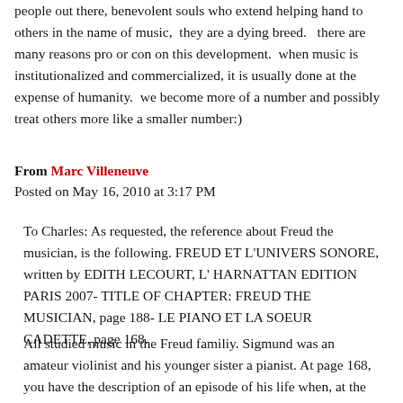people out there, benevolent souls who extend helping hand to others in the name of music, they are a dying breed. there are many reasons pro or con on this development. when music is institutionalized and commercialized, it is usually done at the expense of humanity. we become more of a number and possibly treat others more like a smaller number:)
From Marc Villeneuve
Posted on May 16, 2010 at 3:17 PM
To Charles: As requested, the reference about Freud the musician, is the following. FREUD ET L'UNIVERS SONORE, written by EDITH LECOURT, L' HARNATTAN EDITION PARIS 2007- TITLE OF CHAPTER: FREUD THE MUSICIAN, page 188- LE PIANO ET LA SOEUR CADETTE, page 168.
All studied music in the Freud familiy. Sigmund was an amateur violinist and his younger sister a pianist. At page 168, you have the description of an episode of his life when, at the request of